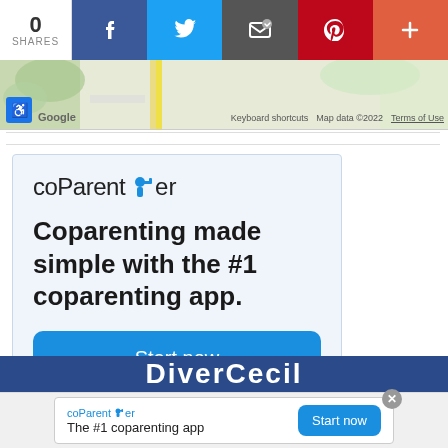[Figure (screenshot): Social share bar with 0 shares count, Facebook, Twitter, Email, Pinterest, and plus buttons]
[Figure (map): Google Maps partial screenshot showing map with keyboard shortcuts, map data 2022, Terms of Use footer text and accessibility icon]
[Figure (screenshot): coParenter advertisement: logo, tagline 'Coparenting made simple with the #1 coparenting app.' and 'Start now' button]
[Figure (screenshot): Sticky bottom banner: coParenter logo, 'The #1 coparenting app' text, 'Start now' button, and close X button]